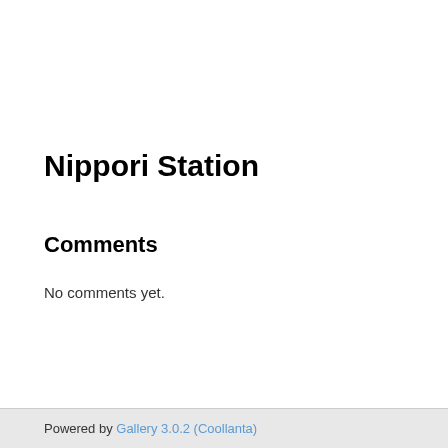Nippori Station
Comments
No comments yet.
Powered by Gallery 3.0.2 (Coollanta)